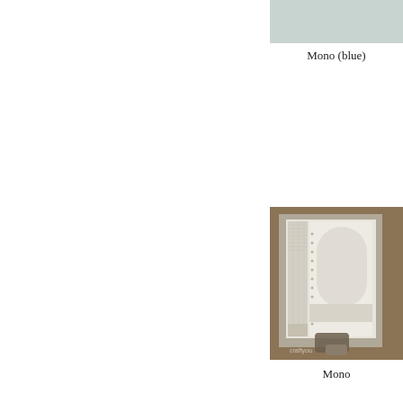[Figure (illustration): Light blue-grey color swatch rectangle in top right corner]
Mono (blue)
[Figure (photo): Photograph of a handmade card with cream/ivory geometric embossed pattern, with a stamp tool visible in the foreground. The card shows intricate lace-like patterns. Watermark reads 'craftyou' at the bottom.]
Mono